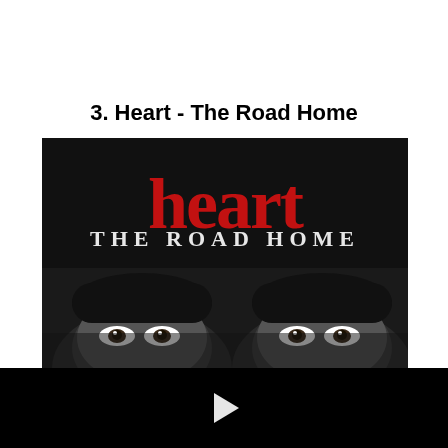3. Heart - The Road Home
[Figure (photo): Album cover for Heart - The Road Home. Black background with large red stylized text 'heart' overlaid on white serif text 'THE ROAD HOME'. Below the text are two people's faces (eyes and top of heads) peeking up from the bottom of the image, one on the left and one on the right.]
[Figure (screenshot): Black video player area with a white play button triangle in the center.]